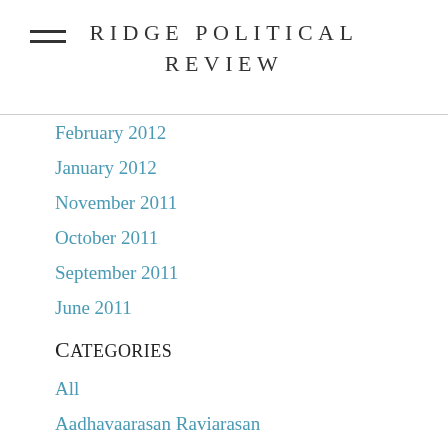RIDGE POLITICAL REVIEW
February 2012
January 2012
November 2011
October 2011
September 2011
June 2011
Categories
All
Aadhavaarasan Raviarasan
Adam Smith
Albert Wu
Alex Liao
Alex Timoney
Alicia Jen
Alison Shim
Andrea Lan